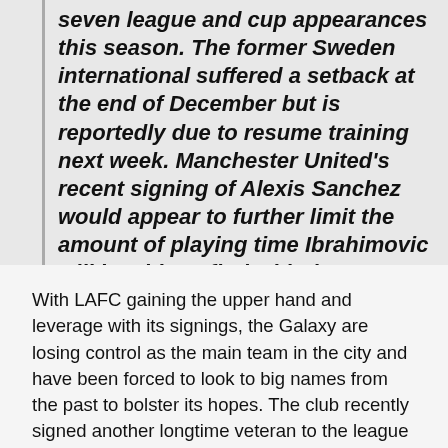seven league and cup appearances this season. The former Sweden international suffered a setback at the end of December but is reportedly due to resume training next week. Manchester United's recent signing of Alexis Sanchez would appear to further limit the amount of playing time Ibrahimovic will be able to find with the team.
With LAFC gaining the upper hand and leverage with its signings, the Galaxy are losing control as the main team in the city and have been forced to look to big names from the past to bolster its hopes. The club recently signed another longtime veteran to the league in Chris Pontius, a midfielder whose knowledge of the game and the competition stateside will be key to the Galaxy's fortunes in 2018.